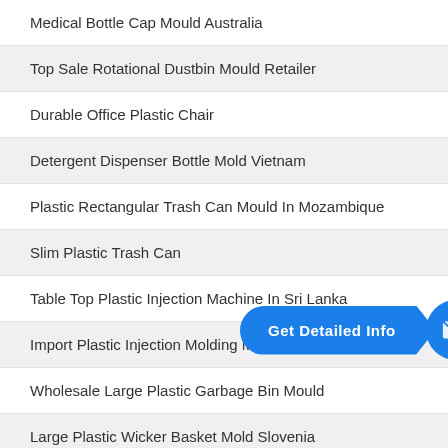Medical Bottle Cap Mould Australia
Top Sale Rotational Dustbin Mould Retailer
Durable Office Plastic Chair
Detergent Dispenser Bottle Mold Vietnam
Plastic Rectangular Trash Can Mould In Mozambique
Slim Plastic Trash Can
Table Top Plastic Injection Machine In Sri Lanka
Import Plastic Injection Molding Materials
Wholesale Large Plastic Garbage Bin Mould
Large Plastic Wicker Basket Mold Slovenia